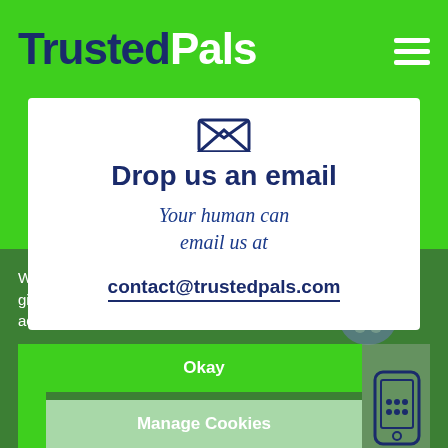TrustedPals
Drop us an email
Your human can email us at
contact@trustedpals.com
We use cookies to optimize the performance of this site and give you the best user experience. By using the site, you accept our use of cookies.
Okay
Manage Cookies